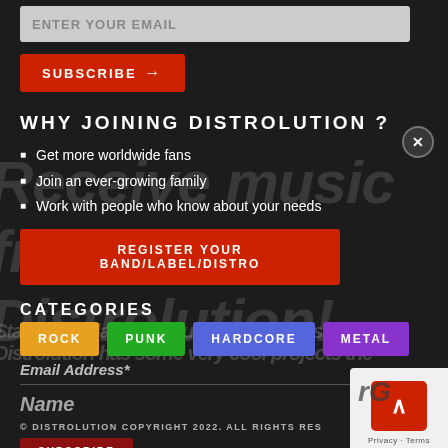ENTER YOUR EMAIL
SUBSCRIBE →
WHY JOINING DISTROLUTION ?
Get more worldwide fans
Join an ever-growing family
Work with people who know about your needs
REGISTER YOUR BAND/LABEL/DISTRO
CATEGORIES
ROCK
PUNK
HARDCORE
METAL
Email Address*
Name
© DISTROLUTION COPYRIGHT 2022. ALL RIGHTS RESERVED
SUBSCRIBE